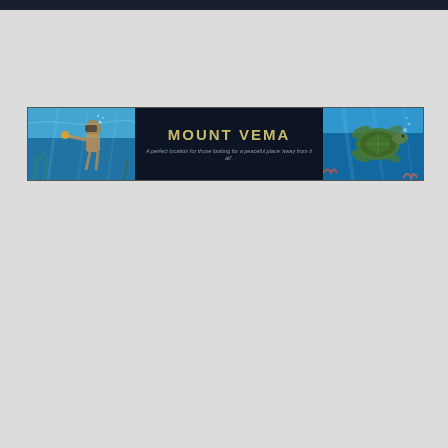Latest News>>>
[Figure (illustration): A banner image for Mount Vema featuring two underwater/ocean photos on the left and right sides (a snorkeler and a sea turtle) with a dark navy center panel showing the text 'MOUNT VEMA' in gold letters and a subtitle 'A perfect location for those looking for a peaceful place away from it all.']